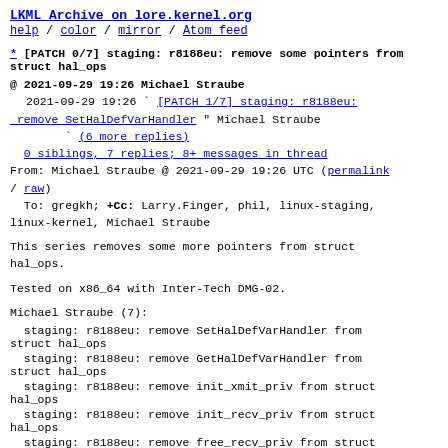LKML Archive on lore.kernel.org
help / color / mirror / Atom feed
* [PATCH 0/7] staging: r8188eu: remove some pointers from struct hal_ops
@ 2021-09-29 19:26 Michael Straube
  2021-09-29 19:26 ` [PATCH 1/7] staging: r8188eu: remove SetHalDefVarHandler " Michael Straube
                   ` (6 more replies)
  0 siblings, 7 replies; 8+ messages in thread
From: Michael Straube @ 2021-09-29 19:26 UTC (permalink / raw)
  To: gregkh; +Cc: Larry.Finger, phil, linux-staging, linux-kernel, Michael Straube
This series removes some more pointers from struct hal_ops.
Tested on x86_64 with Inter-Tech DMG-02.
Michael Straube (7):
staging: r8188eu: remove SetHalDefVarHandler from struct hal_ops
staging: r8188eu: remove GetHalDefVarHandler from struct hal_ops
staging: r8188eu: remove init_xmit_priv from struct hal_ops
staging: r8188eu: remove init_recv_priv from struct hal_ops
staging: r8188eu: remove free_recv_priv from struct (truncated)